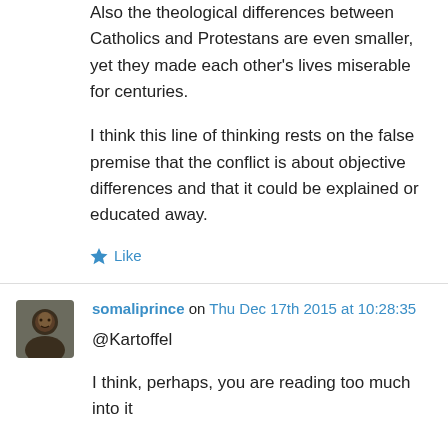Also the theological differences between Catholics and Protestans are even smaller, yet they made each other's lives miserable for centuries.
I think this line of thinking rests on the false premise that the conflict is about objective differences and that it could be explained or educated away.
★ Like
somaliprince on Thu Dec 17th 2015 at 10:28:35
@Kartoffel
I think, perhaps, you are reading too much into it